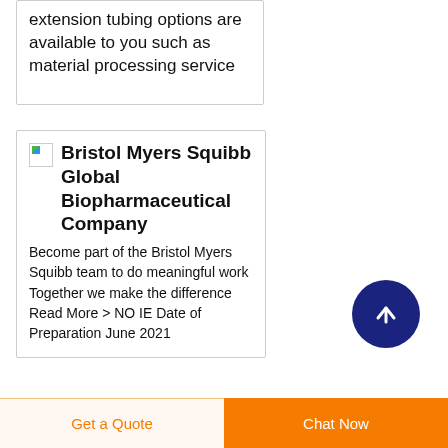extension tubing options are available to you such as material processing service
Bristol Myers SquibbGlobal Biopharmaceutical Company
Become part of the Bristol Myers Squibb team to do meaningful work Together we make the difference Read More > NO IE Date of Preparation June 2021
Get a Quote
Chat Now